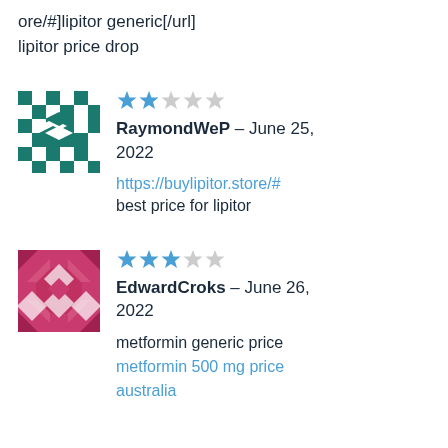ore/#]lipitor generic[/url] lipitor price drop
[Figure (illustration): Teal geometric/quilt pattern avatar for RaymondWeP]
★★☆☆☆ RaymondWeP – June 25, 2022 https://buylipitor.store/# best price for lipitor
[Figure (illustration): Pink/crimson geometric/quilt pattern avatar for EdwardCroks]
★★★☆☆ EdwardCroks – June 26, 2022 metformin generic price metformin 500 mg price australia